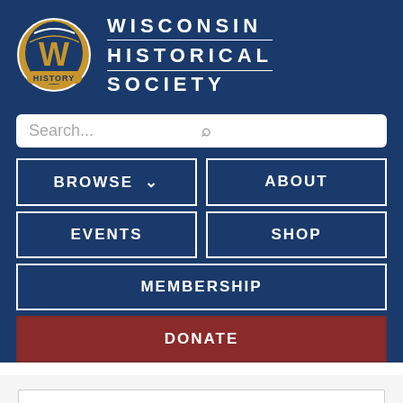[Figure (logo): Wisconsin Historical Society logo with W emblem and baseball glove motif, text reads HISTORY]
WISCONSIN HISTORICAL SOCIETY
Search...
BROWSE
ABOUT
EVENTS
SHOP
MEMBERSHIP
DONATE
Filter: Categories of Wisconsin Historical Images
Filter: Community of East Moline